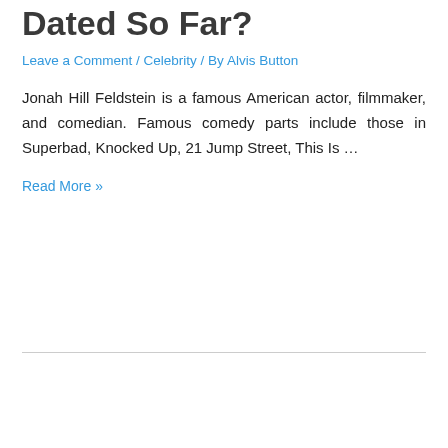Dated So Far?
Leave a Comment / Celebrity / By Alvis Button
Jonah Hill Feldstein is a famous American actor, filmmaker, and comedian. Famous comedy parts include those in Superbad, Knocked Up, 21 Jump Street, This Is …
Read More »